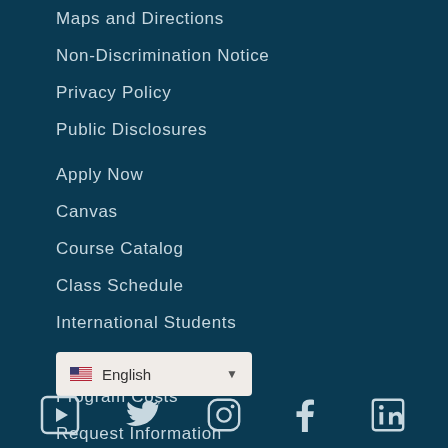Maps and Directions
Non-Discrimination Notice
Privacy Policy
Public Disclosures
Apply Now
Canvas
Course Catalog
Class Schedule
International Students
Military Students
Program Costs
Request Information
Student Handbook
English (language selector)
[Figure (infographic): Social media icons: YouTube, Twitter, Instagram, Facebook, LinkedIn]